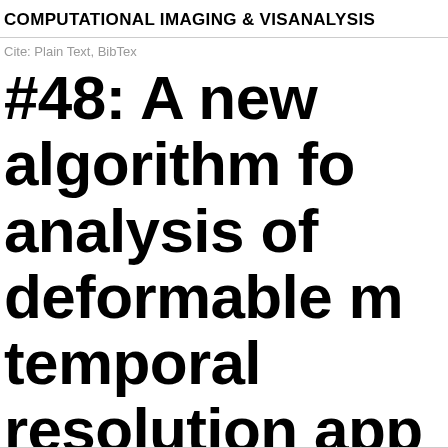COMPUTATIONAL IMAGING & VISANALYSIS
Cite: Plain Text, BibTex
#48: A new algorithm for analysis of deformable m temporal resolution app Roughly uniform elongat also, after an abrupt acc elongation zone